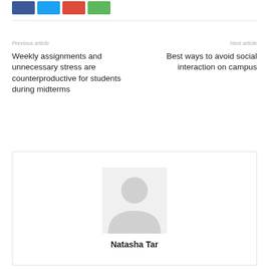[Figure (illustration): Social media sharing buttons: Facebook (blue), Twitter (light blue), Google+ (red), and a green share button]
Previous article
Next article
Weekly assignments and unnecessary stress are counterproductive for students during midterms
Best ways to avoid social interaction on campus
[Figure (illustration): Generic user/author avatar placeholder image — grey silhouette on light grey background]
Natasha Tar